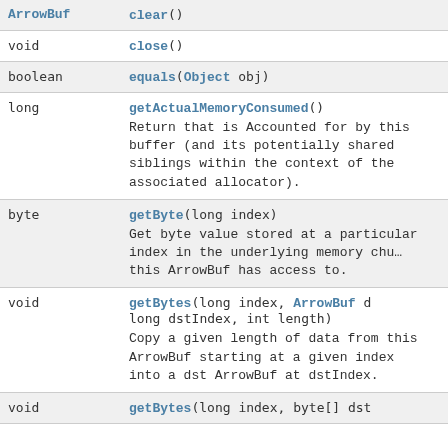| Type | Method / Description |
| --- | --- |
| ArrowBuf | clear() |
| void | close() |
| boolean | equals(Object obj) |
| long | getActualMemoryConsumed()
Return that is Accounted for by this buffer (and its potentially shared siblings within the context of the associated allocator). |
| byte | getByte(long index)
Get byte value stored at a particular index in the underlying memory chunk this ArrowBuf has access to. |
| void | getBytes(long index, ArrowBuf d, long dstIndex, int length)
Copy a given length of data from this ArrowBuf starting at a given index into a dst ArrowBuf at dstIndex. |
| void | getBytes(long index, byte[] dst |